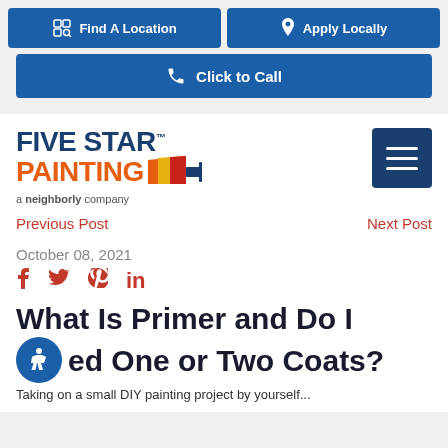Find A Location | Apply Locally | Click to Call
[Figure (logo): Five Star Painting logo - a neighborly company, with hamburger menu icon]
Previous Post    Next Post
October 08, 2021
Social share icons: Facebook, Twitter, Pinterest, LinkedIn
What Is Primer and Do I Need One or Two Coats?
Taking on a small DIY painting project by yourself...